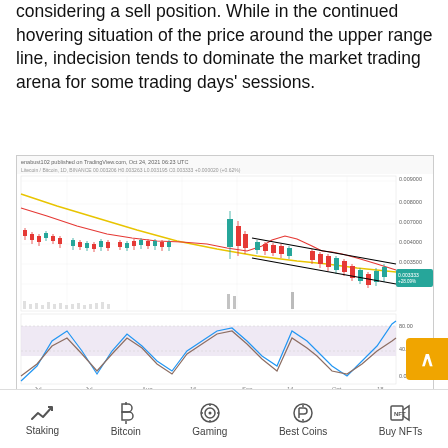considering a sell position. While in the continued hovering situation of the price around the upper range line, indecision tends to dominate the market trading arena for some trading days' sessions.
[Figure (screenshot): TradingView chart of Litecoin/Bitcoin (LTC/BTC) 1D BINANCE price chart published Oct 24, 2021 06:23 UTC. Shows candlestick data with moving averages (red and yellow lines), a descending channel (black lines), and an oscillator panel below showing stochastic/RSI-like indicator oscillating in a shaded region between roughly 0 and 80. X-axis shows dates from July to October. Y-axis shows BTC price range around 0.003-0.009.]
LTC/BTC Price Analysis
In comparison, the litecoin market trending capacity is